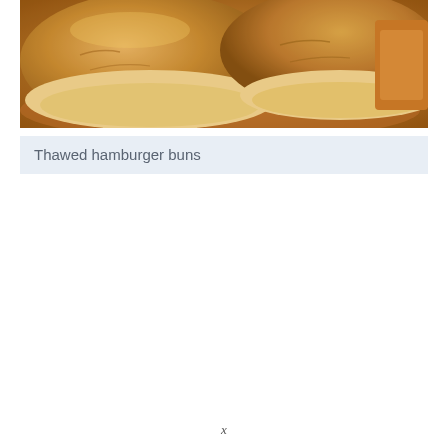[Figure (photo): Close-up photo of thawed hamburger buns on a plate, showing golden-brown buns with soft texture, warm tones of orange and tan]
Thawed hamburger buns